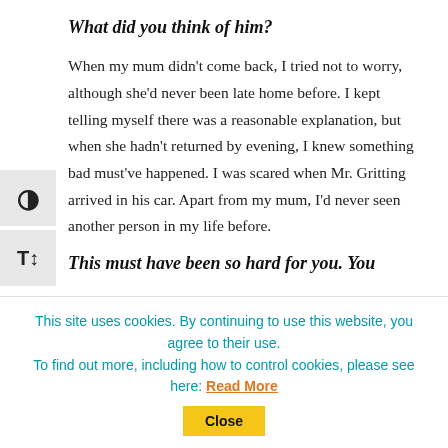What did you think of him?
When my mum didn't come back, I tried not to worry, although she'd never been late home before. I kept telling myself there was a reasonable explanation, but when she hadn't returned by evening, I knew something bad must've happened. I was scared when Mr. Gritting arrived in his car. Apart from my mum, I'd never seen another person in my life before.
This must have been so hard for you. You
This site uses cookies. By continuing to use this website, you agree to their use.
To find out more, including how to control cookies, please see here: Read More